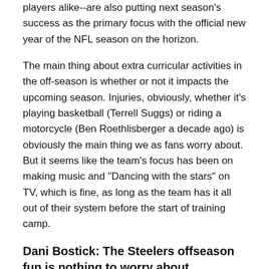players alike--are also putting next season's success as the primary focus with the official new year of the NFL season on the horizon.
The main thing about extra curricular activities in the off-season is whether or not it impacts the upcoming season. Injuries, obviously, whether it's playing basketball (Terrell Suggs) or riding a motorcycle (Ben Roethlisberger a decade ago) is obviously the main thing we as fans worry about. But it seems like the team's focus has been on making music and "Dancing with the stars" on TV, which is fine, as long as the team has it all out of their system before the start of training camp.
Dani Bostick: The Steelers offseason fun is nothing to worry about
The ...